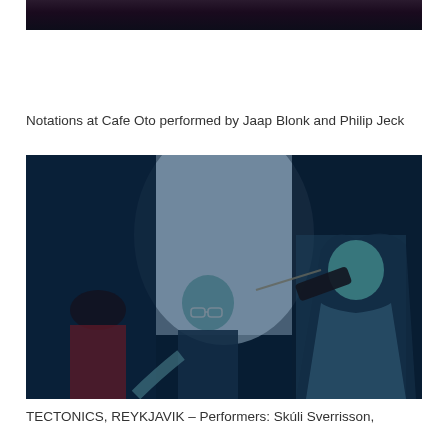[Figure (photo): Dark photograph partially visible at top of page, showing a performance scene with dark/purple tones]
Notations at Cafe Oto performed by Jaap Blonk and Philip Jeck
[Figure (photo): Concert/performance photo with blue tint showing musicians: a bald man with glasses in center, a woman playing violin on the right with long hair, and another person visible on the left. Dark stage setting with a light backdrop.]
TECTONICS, REYKJAVIK – Performers: Skúli Sverrisson,